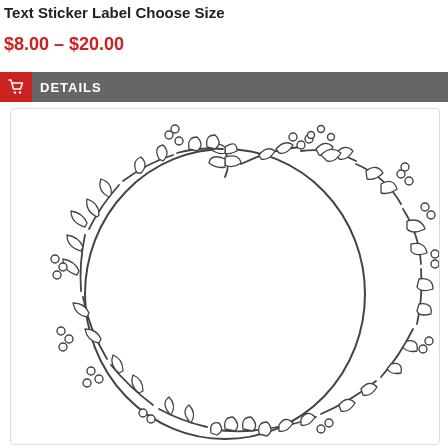Text Sticker Label Choose Size
$8.00 – $20.00
DETAILS
[Figure (illustration): A circular wreath illustration made of leaves and berries drawn in dark outline style on white background]